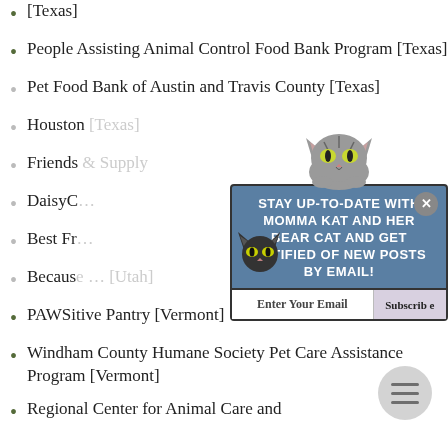[Texas]
People Assisting Animal Control Food Bank Program [Texas]
Pet Food Bank of Austin and Travis County [Texas]
Houston [Texas]
Friends … & Supply [Texas]
DaisyC…
Best Fr…
Because … [Utah]
PAWSitive Pantry [Vermont]
Windham County Humane Society Pet Care Assistance Program [Vermont]
Regional Center for Animal Care and
[Figure (infographic): Email subscription popup for 'Momma Kat and Her Bear Cat' blog with cat illustrations, a text input for email, and a Subscribe button. Also includes a circular hamburger menu button at bottom right.]